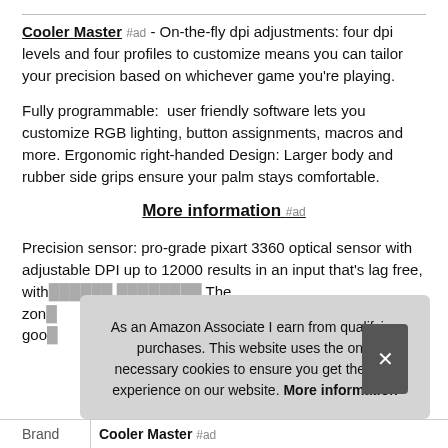Cooler Master #ad - On-the-fly dpi adjustments: four dpi levels and four profiles to customize means you can tailor your precision based on whichever game you're playing.
Fully programmable: user friendly software lets you customize RGB lighting, button assignments, macros and more. Ergonomic right-handed Design: Larger body and rubber side grips ensure your palm stays comfortable.
More information #ad
Precision sensor: pro-grade pixart 3360 optical sensor with adjustable DPI up to 12000 results in an input that's lag free, with... ...zone... ...goo...
As an Amazon Associate I earn from qualifying purchases. This website uses the only necessary cookies to ensure you get the best experience on our website. More information
| Brand |
| --- |
| Cooler Master #ad |